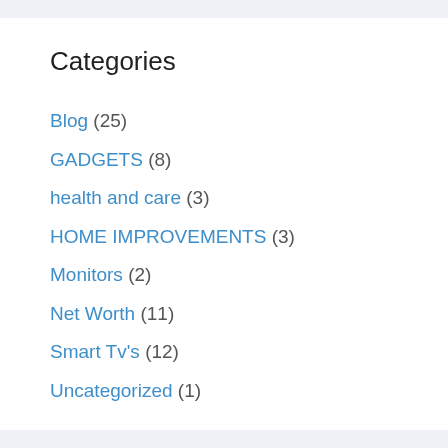Categories
Blog (25)
GADGETS (8)
health and care (3)
HOME IMPROVEMENTS (3)
Monitors (2)
Net Worth (11)
Smart Tv's (12)
Uncategorized (1)